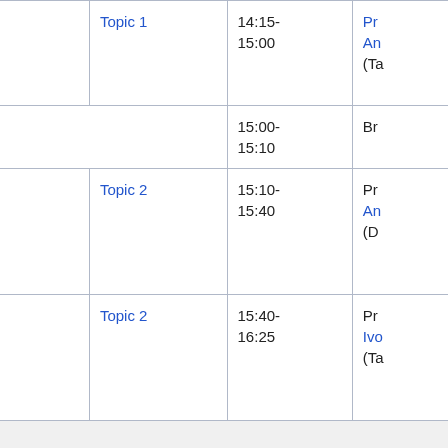|  | Time | Presenter | Topic | Time | Presenter |
| --- | --- | --- | --- | --- | --- |
|  | 10:00-10:30 | 1: Maryam Bagherian (Demo) | Topic 1 | 14:15-15:00 | Pr An (Ta |
|  | 10:30-10:45 | Break |  | 15:00-15:10 | Br |
|  | 10:45-11:30 | Presenter 2 Miaoyan Wang (Talk) | Topic 2 | 15:10-15:40 | Pr An (D |
|  | 11:30-12:00 | Presenter 2 Miaoyan Wang (Demo) | Topic 2 | 15:40-16:25 | Pr Ivo (Ta |